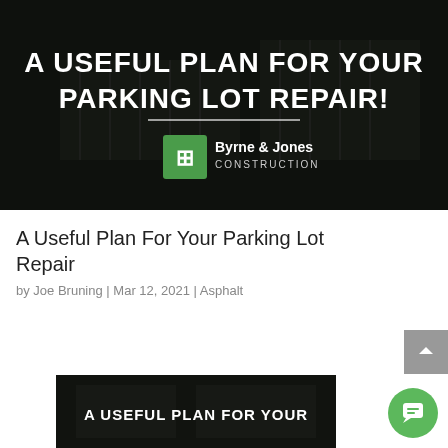[Figure (photo): Aerial view of a parking lot with a dark overlay. Text overlay reads 'A USEFUL PLAN FOR YOUR PARKING LOT REPAIR!' in bold white letters with a decorative underline. Byrne & Jones Construction logo with green icon is displayed in the lower portion of the image.]
A Useful Plan For Your Parking Lot Repair
by Joe Bruning | Mar 12, 2021 | Asphalt
[Figure (photo): Partial thumbnail image at bottom of page showing aerial view of parking lot with text 'A USEFUL PLAN FOR YOUR' overlaid in white bold letters on dark background.]